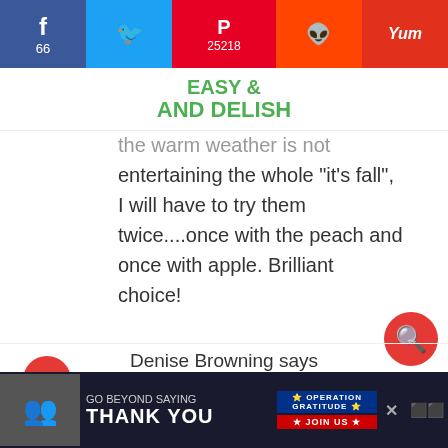f 66 | Twitter | P 25218 | Reddit | Yum
[Figure (logo): Easy And Delish logo in green text]
the warm weather is not entertaining the whole "it's fall", I will have to try them twice....once with the peach and once with apple. Brilliant choice!
Reply
WHAT'S NEXT → No Bake Tropical...
Denise Browning says
[Figure (screenshot): Operation Gratitude advertisement banner: GO BEYOND SAYING THANK YOU - JOIN US]